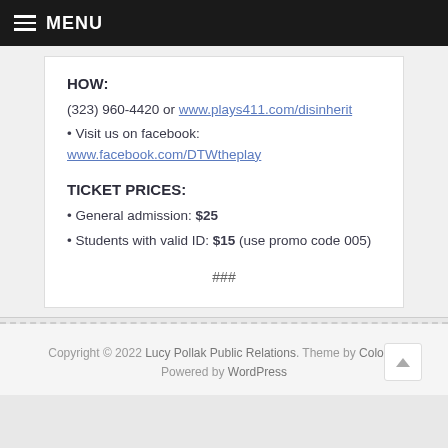MENU
HOW:
(323) 960-4420 or www.plays411.com/disinherit
• Visit us on facebook: www.facebook.com/DTWtheplay
TICKET PRICES:
• General admission: $25
• Students with valid ID: $15 (use promo code 005)
###
Copyright © 2022 Lucy Pollak Public Relations. Theme by Colorlib Powered by WordPress